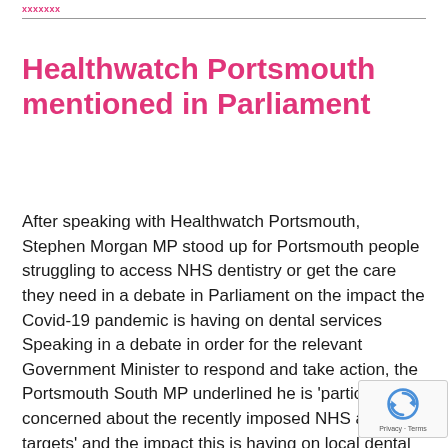XXXXXXX
Healthwatch Portsmouth mentioned in Parliament
After speaking with Healthwatch Portsmouth, Stephen Morgan MP stood up for Portsmouth people struggling to access NHS dentistry or get the care they need in a debate in Parliament on the impact the Covid-19 pandemic is having on dental services Speaking in a debate in order for the relevant Government Minister to respond and take action, the Portsmouth South MP underlined he is 'particularly concerned about the recently imposed NHS activity targets' and the impact this is having on local dental services. The latest intervention in the House of Commons follows Mr Morgan's long-